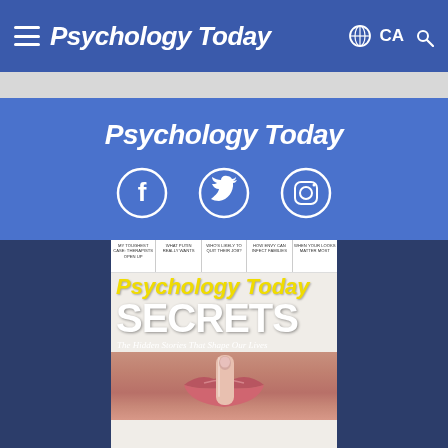Psychology Today
Psychology Today
[Figure (screenshot): Psychology Today social media page showing the magazine logo, Facebook, Twitter and Instagram icons, and a magazine cover featuring the word SECRETS with subtitle 'The Hidden Stories That Shape Our Lives']
MY TOUGHEST CASE: THERAPISTS OPEN UP | WHAT PUTIN REALLY WANTS | WHO'S LIKELY TO QUIT THEIR JOB? | HOW ENVY CAN INFECT FAMILIES | WHEN YOUR LOOKS MATTER MOST